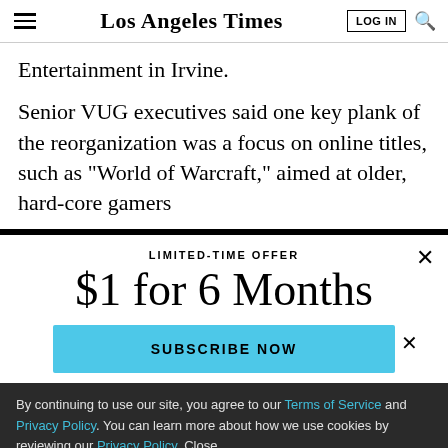Los Angeles Times | LOG IN
Entertainment in Irvine.
Senior VUG executives said one key plank of the reorganization was a focus on online titles, such as “World of Warcraft,” aimed at older, hard-core gamers
LIMITED-TIME OFFER
$1 for 6 Months
SUBSCRIBE NOW
By continuing to use our site, you agree to our Terms of Service and Privacy Policy. You can learn more about how we use cookies by reviewing our Privacy Policy. Close